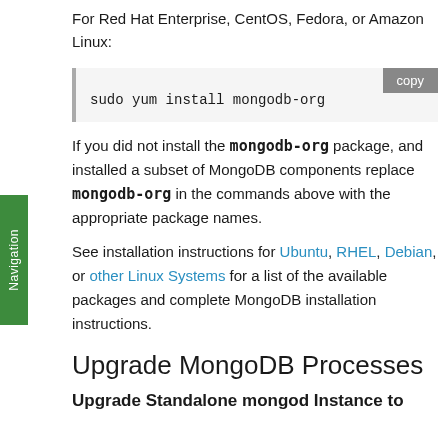For Red Hat Enterprise, CentOS, Fedora, or Amazon Linux:
sudo yum install mongodb-org
If you did not install the mongodb-org package, and installed a subset of MongoDB components replace mongodb-org in the commands above with the appropriate package names.
See installation instructions for Ubuntu, RHEL, Debian, or other Linux Systems for a list of the available packages and complete MongoDB installation instructions.
Upgrade MongoDB Processes
Upgrade Standalone mongod Instance to